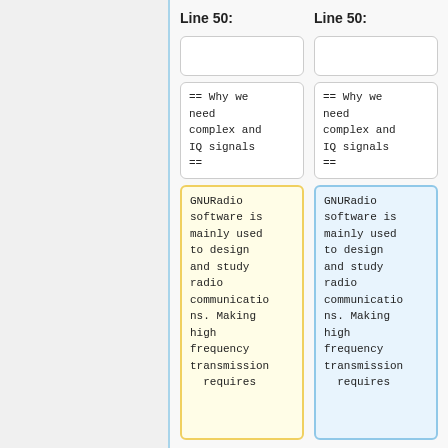Line 50:
Line 50:
== Why we need complex and IQ signals ==
== Why we need complex and IQ signals ==
GNURadio software is mainly used to design and study radio communications. Making high frequency transmission requires
GNURadio software is mainly used to design and study radio communications. Making high frequency transmission requires